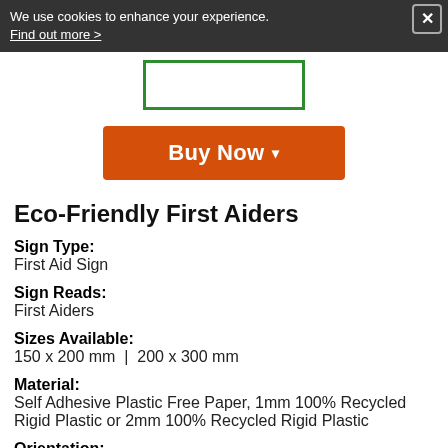We use cookies to enhance your experience. Find out more >
[Figure (other): Product image placeholder with green border]
[Figure (other): Orange Buy Now button with dropdown arrow]
Eco-Friendly First Aiders
Sign Type: First Aid Sign
Sign Reads: First Aiders
Sizes Available: 150 x 200 mm | 200 x 300 mm
Material: Self Adhesive Plastic Free Paper, 1mm 100% Recycled Rigid Plastic or 2mm 100% Recycled Rigid Plastic
Orientation: